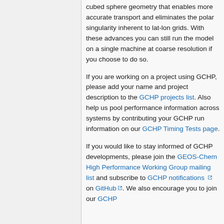GCHP has the advantage of using a cubed sphere geometry that enables more accurate transport and eliminates the polar singularity inherent to lat-lon grids. With these advances you can still run the model on a single machine at coarse resolution if you choose to do so.
If you are working on a project using GCHP, please add your name and project description to the GCHP projects list. Also help us pool performance information across systems by contributing your GCHP run information on our GCHP Timing Tests page.
If you would like to stay informed of GCHP developments, please join the GEOS-Chem High Performance Working Group mailing list and subscribe to GCHP notifications on GitHub. We also encourage you to join our GCHP